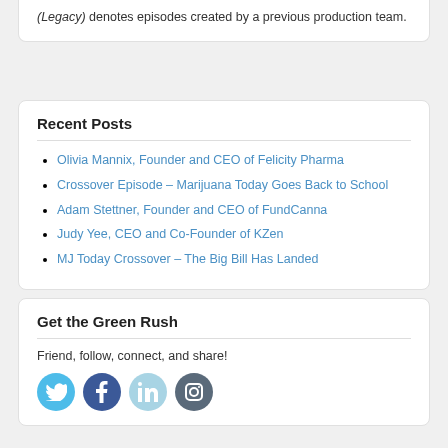(Legacy) denotes episodes created by a previous production team.
Recent Posts
Olivia Mannix, Founder and CEO of Felicity Pharma
Crossover Episode – Marijuana Today Goes Back to School
Adam Stettner, Founder and CEO of FundCanna
Judy Yee, CEO and Co-Founder of KZen
MJ Today Crossover – The Big Bill Has Landed
Get the Green Rush
Friend, follow, connect, and share!
[Figure (illustration): Four social media icons: Twitter (blue circle), Facebook (dark blue circle), LinkedIn (light blue circle), Instagram (grey circle)]